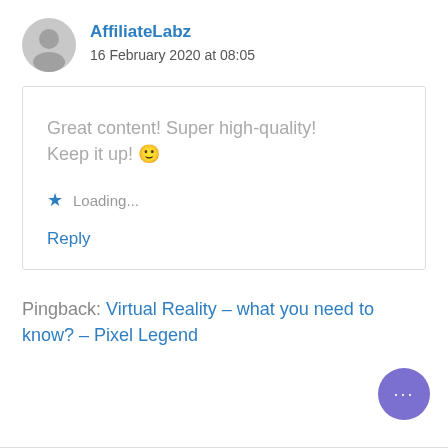[Figure (illustration): Gray circular avatar/profile placeholder icon]
AffiliateLabz
16 February 2020 at 08:05
Great content! Super high-quality! Keep it up! 🙂
★ Loading...
Reply
Pingback: Virtual Reality – what you need to know? – Pixel Legend
[Figure (illustration): Purple circular chat/messenger button with three dots]